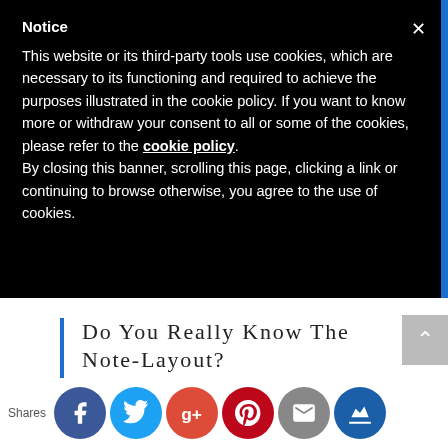Notice
This website or its third-party tools use cookies, which are necessary to its functioning and required to achieve the purposes illustrated in the cookie policy. If you want to know more or withdraw your consent to all or some of the cookies, please refer to the cookie policy.
By closing this banner, scrolling this page, clicking a link or continuing to browse otherwise, you agree to the use of cookies.
Do You Really Know The Note-Layout?
Way to many players will look at an image like this
and simply think “OK I’ve got it”  to which I would
Shares